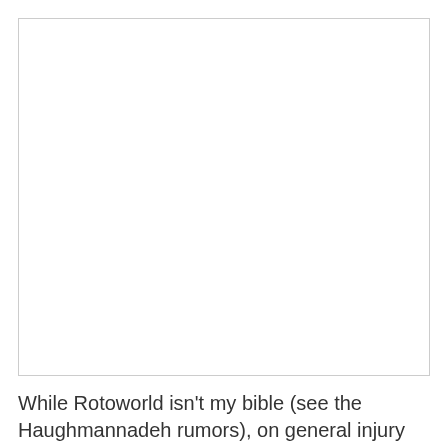[Figure (other): Large white/blank rectangular image area with a light border]
While Rotoworld isn't my bible (see the Haughmannadeh rumors), on general injury info they're